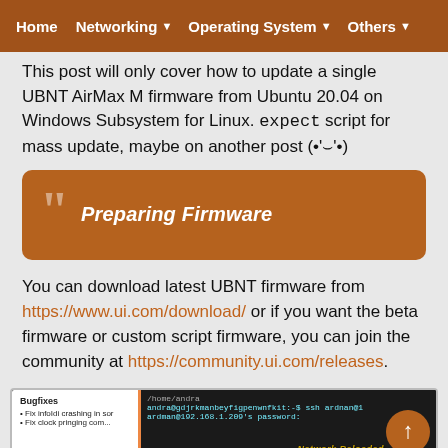Home | Networking ▾ | Operating System ▾ | Others ▾
This post will only cover how to update a single UBNT AirMax M firmware from Ubuntu 20.04 on Windows Subsystem for Linux. expect script for mass update, maybe on another post (•'⌣'•)
Preparing Firmware
You can download latest UBNT firmware from https://www.ui.com/download/ or if you want the beta firmware or custom script firmware, you can join the community at https://community.ui.com/releases.
[Figure (screenshot): Terminal screenshot showing SSH login to 192.168.1.209 with bugfixes list on left side and Network Reloaded badge]